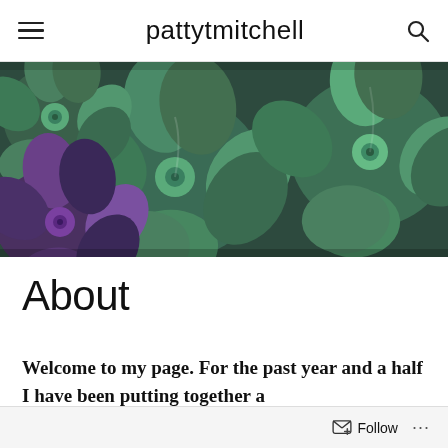pattytmitchell
[Figure (photo): Close-up photograph of green and purple succulent plants filling the entire frame, with overlapping rosette-shaped leaves.]
About
Welcome to my page.  For the past year and a half I have been putting together a
Follow ...